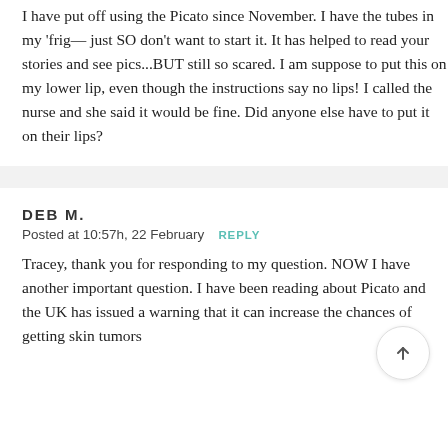I have put off using the Picato since November. I have the tubes in my 'frig— just SO don't want to start it. It has helped to read your stories and see pics...BUT still so scared. I am suppose to put this on my lower lip, even though the instructions say no lips! I called the nurse and she said it would be fine. Did anyone else have to put it on their lips?
DEB M.
Posted at 10:57h, 22 February  REPLY
Tracey, thank you for responding to my question. NOW I have another important question. I have been reading about Picato and the UK has issued a warning that it can increase the chances of getting skin tumors